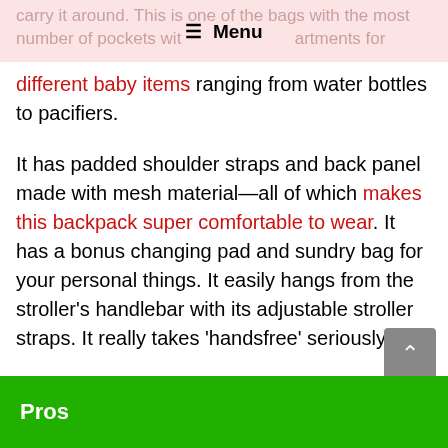carry it around. This is one of the bags with the most number of pockets with — Menu — apartments for different baby items ranging from water bottles to pacifiers.
It has padded shoulder straps and back panel made with mesh material—all of which makes this backpack super comfortable to wear. It has a bonus changing pad and sundry bag for your personal things. It easily hangs from the stroller's handlebar with its adjustable stroller straps. It really takes 'handsfree' seriously.
Although a little pricier than similar bags, this water-resistant backpack is geared for heavy use. It's also one of the few diaper bags that's designed for long-distance travel.
Pros